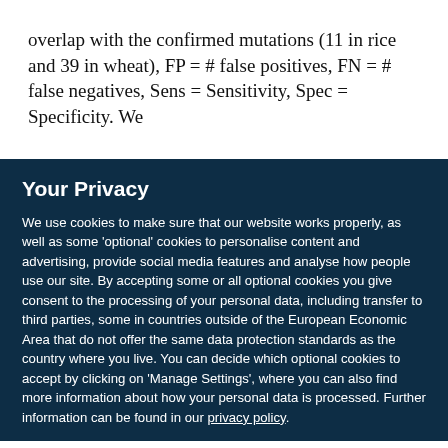overlap with the confirmed mutations (11 in rice and 39 in wheat), FP = # false positives, FN = # false negatives, Sens = Sensitivity, Spec = Specificity. We
Your Privacy
We use cookies to make sure that our website works properly, as well as some 'optional' cookies to personalise content and advertising, provide social media features and analyse how people use our site. By accepting some or all optional cookies you give consent to the processing of your personal data, including transfer to third parties, some in countries outside of the European Economic Area that do not offer the same data protection standards as the country where you live. You can decide which optional cookies to accept by clicking on 'Manage Settings', where you can also find more information about how your personal data is processed. Further information can be found in our privacy policy.
Accept all cookies
Manage preferences